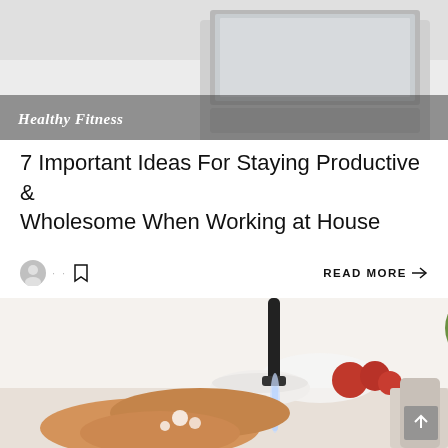[Figure (photo): Top portion of a photo showing a laptop on a white desk, partially cropped. A 'Healthy Fitness' label overlays the bottom-left of the image.]
7 Important Ideas For Staying Productive & Wholesome When Working at House
READ MORE →
[Figure (photo): Photo of a person washing their hands under a running kitchen faucet, with fruits, vegetables, and a bowl visible in the background.]